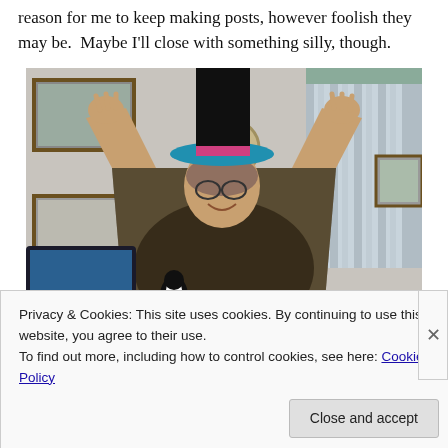reason for me to keep making posts, however foolish they may be.  Maybe I'll close with something silly, though.
[Figure (photo): Person wearing a teal/blue hat and a large patterned robe/cape, holding up the top of the hat with both hands raised, standing in a home interior with pictures on walls, a TV, and a small penguin figurine visible.]
Privacy & Cookies: This site uses cookies. By continuing to use this website, you agree to their use.
To find out more, including how to control cookies, see here: Cookie Policy